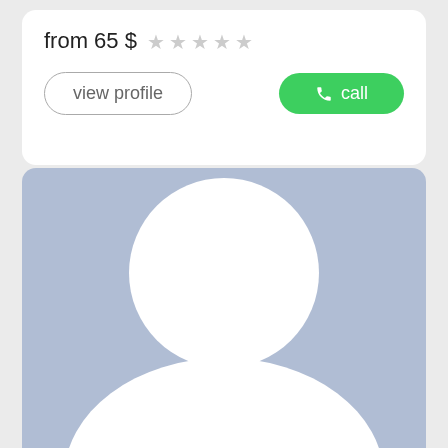from 65 $
view profile
call
[Figure (illustration): Placeholder profile avatar image: blue-gray background with white silhouette of a person (circle head and rounded shoulders).]